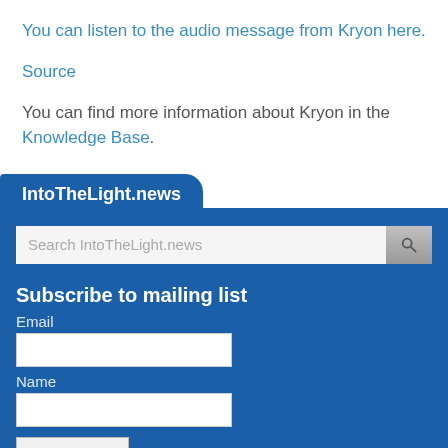You can listen to the audio message from Kryon here.
Source
You can find more information about Kryon in the Knowledge Base.
IntoTheLight.news
Search IntoTheLight.news
Subscribe to mailing list
Email
Name
Subscribe
Share